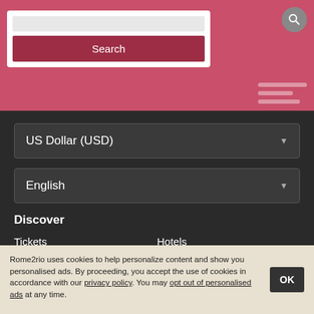[Figure (screenshot): Top banner with pink/rose background showing a search interface with a Search button and a circular search icon on the right side]
US Dollar (USD)
English
Discover
Tickets
Hotels
Rental Cars
Travel Guides
Blog
Rome2rio uses cookies to help personalize content and show you personalised ads. By proceeding, you accept the use of cookies in accordance with our privacy policy. You may opt out of personalised ads at any time.